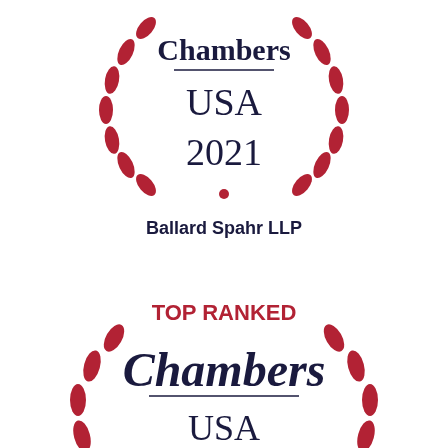[Figure (logo): Chambers USA 2021 laurel wreath badge with red laurel leaves and dark navy text reading Chambers USA 2021 with a red dot at the bottom]
Ballard Spahr LLP
[Figure (logo): Chambers USA Top Ranked laurel wreath badge (partial, cropped) with red laurel leaves, red bold text TOP RANKED at top, dark navy italic Chambers text, and USA below, with year partially visible at bottom]